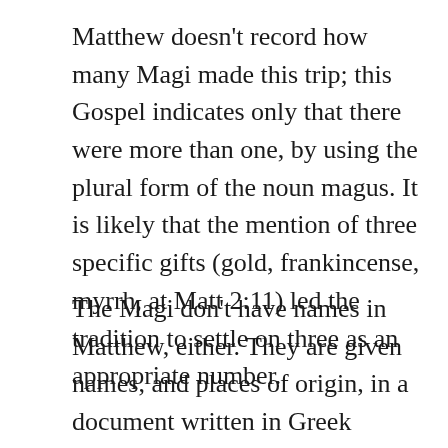Matthew doesn't record how many Magi made this trip; this Gospel indicates only that there were more than one, by using the plural form of the noun magus. It is likely that the mention of three specific gifts (gold, frankincense, myrrh, at Matt 2:11) led the tradition to settle on three as an appropriate number.
The Magi don't have names in Matthew, either. They are given names, and places of origin, in a document written in Greek around 500 CE, although this survives only in a Latin translation from the 9th century with the title Excerpta Latina Barbari . Because of this document, the Western churches identify the Magi as Melchior, from Persia; Caspar, from India; and Balthazar, from